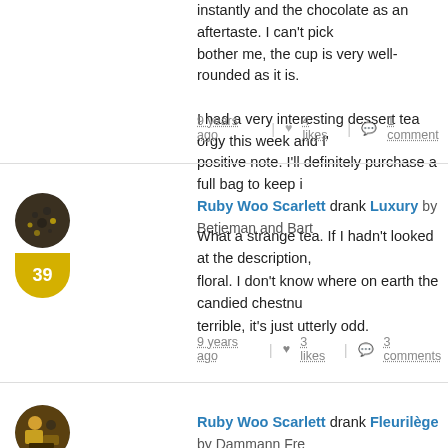instantly and the chocolate as an aftertaste. I can't pick bother me, the cup is very well-rounded as it is.
I had a very interesting dessert tea orgy this week and I' positive note. I'll definitely purchase a full bag to keep i
9 years ago | 4 likes | 1 comment
Ruby Woo Scarlett drank Luxury by Betjeman and Bart
What a strange tea. If I hadn't looked at the description, floral. I don't know where on earth the candied chestnu terrible, it's just utterly odd.
9 years ago | 3 likes | 3 comments
Ruby Woo Scarlett drank Fleurilège by Dammann Fre